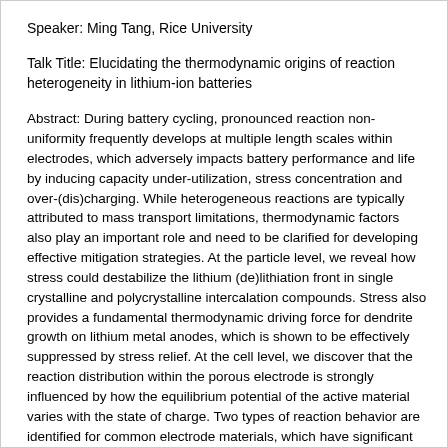Speaker: Ming Tang, Rice University
Talk Title: Elucidating the thermodynamic origins of reaction heterogeneity in lithium-ion batteries
Abstract: During battery cycling, pronounced reaction non-uniformity frequently develops at multiple length scales within electrodes, which adversely impacts battery performance and life by inducing capacity under-utilization, stress concentration and over-(dis)charging. While heterogeneous reactions are typically attributed to mass transport limitations, thermodynamic factors also play an important role and need to be clarified for developing effective mitigation strategies. At the particle level, we reveal how stress could destabilize the lithium (de)lithiation front in single crystalline and polycrystalline intercalation compounds. Stress also provides a fundamental thermodynamic driving force for dendrite growth on lithium metal anodes, which is shown to be effectively suppressed by stress relief. At the cell level, we discover that the reaction distribution within the porous electrode is strongly influenced by how the equilibrium potential of the active material varies with the state of charge. Two types of reaction behavior are identified for common electrode materials, which have significant implications for their applications in thick electrodes. Based on this finding, an analytical model is formulated to provide highly efficient